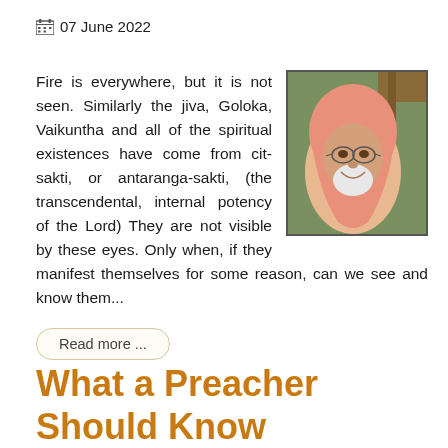07 June 2022
Fire is everywhere, but it is not seen. Similarly the jiva, Goloka, Vaikuntha and all of the spiritual existences have come from cit-sakti, or antaranga-sakti, (the transcendental, internal potency of the Lord) They are not visible by these eyes. Only when, if they manifest themselves for some reason, can we see and know them...
[Figure (photo): Portrait of an elderly spiritual teacher wearing a pink/saffron hood, with glasses and a white beard, smiling, outdoors near wooden structure]
Read more ...
What a Preacher Should Know